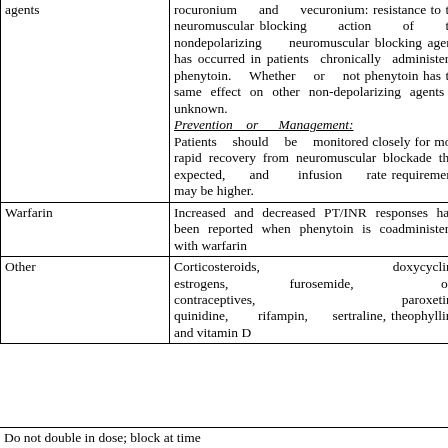| Drug/Drug Class | Effect |
| --- | --- |
| agents | rocuronium and vecuronium: resistance to the neuromuscular blocking action of the nondepolarizing neuromuscular blocking agents has occurred in patients chronically administered phenytoin. Whether or not phenytoin has the same effect on other non-depolarizing agents is unknown.
Prevention or Management: Patients should be monitored closely for more rapid recovery from neuromuscular blockade than expected, and infusion rate requirements may be higher. |
| Warfarin | Increased and decreased PT/INR responses have been reported when phenytoin is coadministered with warfarin |
| Other | Corticosteroids, doxycycline, estrogens, furosemide, oral contraceptives, paroxetine, quinidine, rifampin, sertraline, theophylline, and vitamin D |
Do not double in dose; block at time...